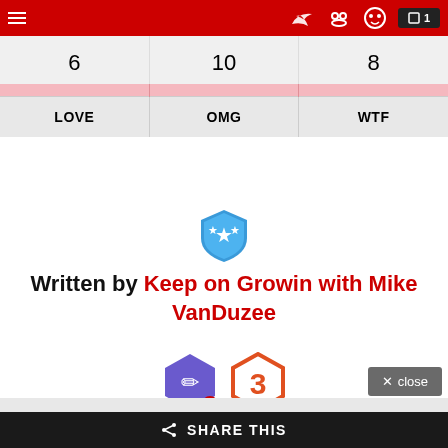Navigation bar with hamburger menu and icons
| LOVE | OMG | WTF |
| --- | --- | --- |
| 6 | 10 | 8 |
[Figure (other): Blue shield badge icon with stars]
Written by Keep on Growin with Mike VanDuzee
[Figure (other): Two hexagon badge icons: purple pencil badge with '1' and orange/red '3' badge]
SHARE THIS